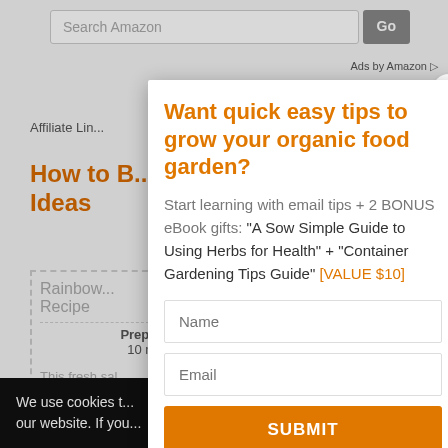[Figure (screenshot): Search bar with 'Search Amazon' placeholder and 'Go' button]
Ads by Amazon
Affiliate Lin...
How to B... Ideas
| Rainbow... Recipe |
| Prep time |  |
| 10 mins |  |
| This fresh sal... |
We use cookies t... our website. If you...
Want quick easy tips to grow your organic food garden?
Start learning with email tips + 2 BONUS eBook gifts: "A Sow Simple Guide to Using Herbs for Health" + "Container Gardening Tips Guide" [VALUE $10]
Name
Email
SUBMIT